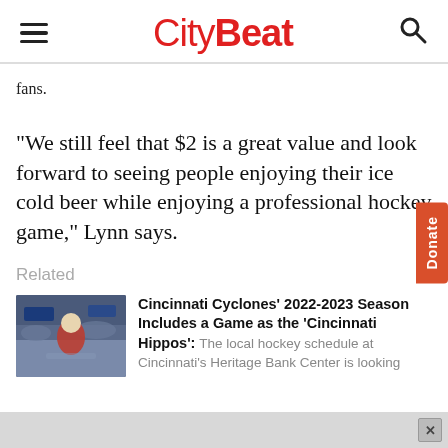CityBeat
fans.
"We still feel that $2 is a great value and look forward to seeing people enjoying their ice cold beer while enjoying a professional hockey game," Lynn says.
Related
[Figure (photo): Photo of a person in costume at what appears to be a Cincinnati Cyclones hockey event inside an arena]
Cincinnati Cyclones' 2022-2023 Season Includes a Game as the 'Cincinnati Hippos': The local hockey schedule at Cincinnati's Heritage Bank Center is looking